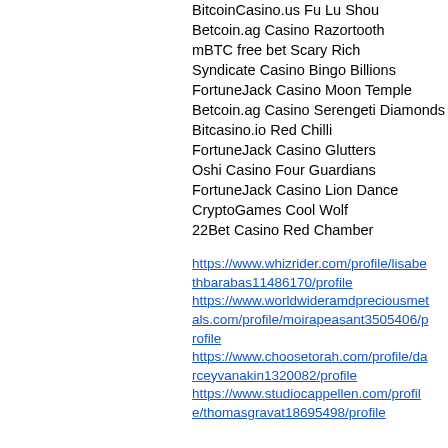BitcoinCasino.us Fu Lu Shou
Betcoin.ag Casino Razortooth
mBTC free bet Scary Rich
Syndicate Casino Bingo Billions
FortuneJack Casino Moon Temple
Betcoin.ag Casino Serengeti Diamonds
Bitcasino.io Red Chilli
FortuneJack Casino Glutters
Oshi Casino Four Guardians
FortuneJack Casino Lion Dance
CryptoGames Cool Wolf
22Bet Casino Red Chamber
https://www.whizrider.com/profile/lisabethbarabas11486170/profile
https://www.worldwideramdpreciousmetals.com/profile/moirapeasant3505406/profile
https://www.choosetorah.com/profile/darceyvanakin1320082/profile
https://www.studiocappellen.com/profile/thomasgravat18695498/profile